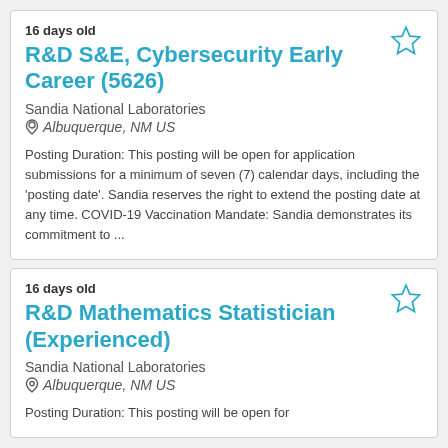16 days old
R&D S&E, Cybersecurity Early Career (5626)
Sandia National Laboratories
Albuquerque, NM US
Posting Duration: This posting will be open for application submissions for a minimum of seven (7) calendar days, including the 'posting date'. Sandia reserves the right to extend the posting date at any time. COVID-19 Vaccination Mandate: Sandia demonstrates its commitment to ...
16 days old
R&D Mathematics Statistician (Experienced)
Sandia National Laboratories
Albuquerque, NM US
Posting Duration: This posting will be open for